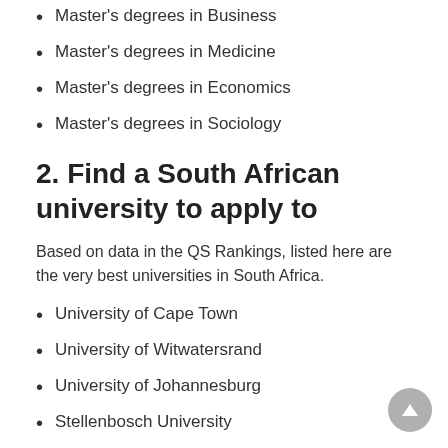Master's degrees in Business
Master's degrees in Medicine
Master's degrees in Economics
Master's degrees in Sociology
2. Find a South African university to apply to
Based on data in the QS Rankings, listed here are the very best universities in South Africa.
University of Cape Town
University of Witwatersrand
University of Johannesburg
Stellenbosch University